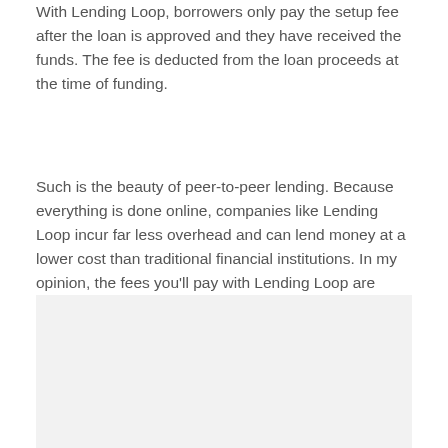With Lending Loop, borrowers only pay the setup fee after the loan is approved and they have received the funds. The fee is deducted from the loan proceeds at the time of funding.
Such is the beauty of peer-to-peer lending. Because everything is done online, companies like Lending Loop incur far less overhead and can lend money at a lower cost than traditional financial institutions. In my opinion, the fees you'll pay with Lending Loop are reasonable for both the lender and the borrower.